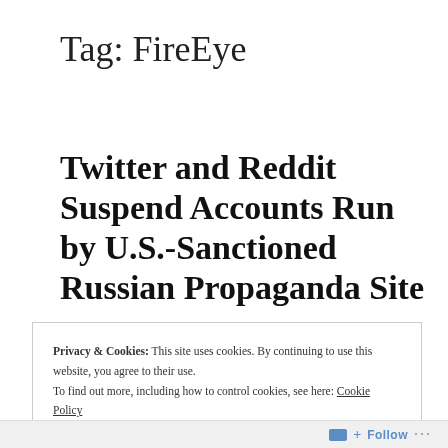Tag: FireEye
Twitter and Reddit Suspend Accounts Run by U.S.-Sanctioned Russian Propaganda Site
Privacy & Cookies: This site uses cookies. By continuing to use this website, you agree to their use.
To find out more, including how to control cookies, see here: Cookie Policy
Close and accept
Follow